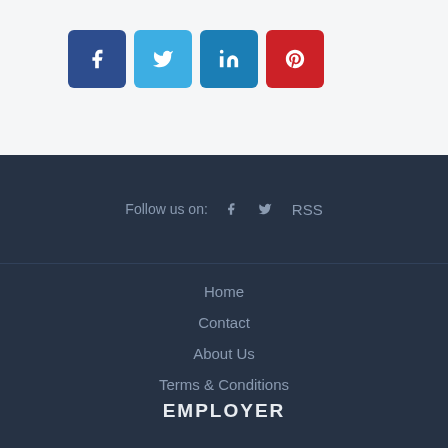[Figure (infographic): Social media share buttons: Facebook (dark blue), Twitter (light blue), LinkedIn (medium blue), Pinterest (red), each as rounded square icons with white symbols]
Follow us on:  f  🐦  RSS
Home
Contact
About Us
Terms & Conditions
EMPLOYER